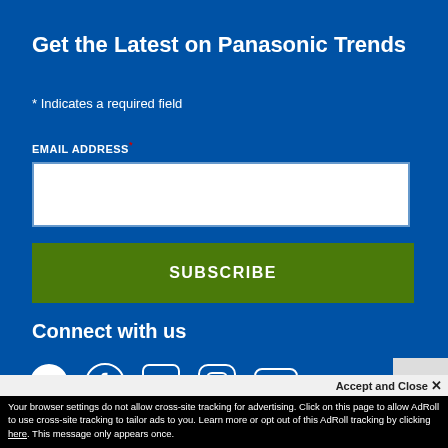Get the Latest on Panasonic Trends
* Indicates a required field
EMAIL ADDRESS *
SUBSCRIBE
Connect with us
[Figure (infographic): Social media icons: Twitter, Facebook, LinkedIn, Instagram, YouTube]
Select Country/Language
Accept and Close ×
Your browser settings do not allow cross-site tracking for advertising. Click on this page to allow AdRoll to use cross-site tracking to tailor ads to you. Learn more or opt out of this AdRoll tracking by clicking here. This message only appears once.